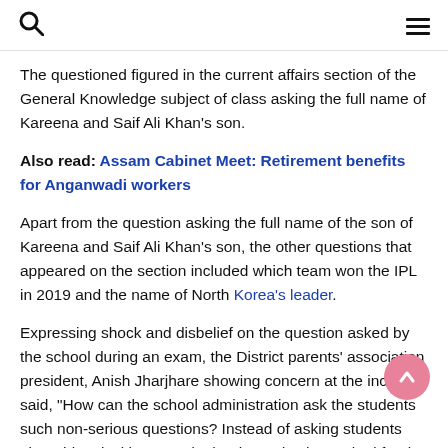Search and menu icons
The questioned figured in the current affairs section of the General Knowledge subject of class asking the full name of Kareena and Saif Ali Khan’s son.
Also read: Assam Cabinet Meet: Retirement benefits for Anganwadi workers
Apart from the question asking the full name of the son of Kareena and Saif Ali Khan’s son, the other questions that appeared on the section included which team won the IPL in 2019 and the name of North Korea’s leader.
Expressing shock and disbelief on the question asked by the school during an exam, the District parents’ association president, Anish Jharjhare showing concern at the incident said, “How can the school administration ask the students such non-serious questions? Instead of asking students about historical icons and other legends, they asked for the full name of the son of a Bollywood couple.”